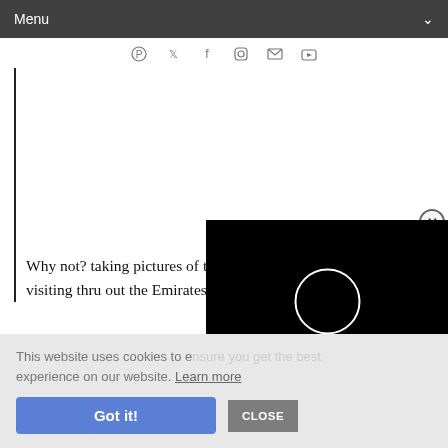Menu
[Figure (screenshot): Social media icons row: Pinterest, Twitter, Facebook, Instagram, Email, YouTube]
Why not? taking pictures of the visiting thru out the Emirates.
[Figure (screenshot): Black video player popup with white loading circle and X close button]
This website uses cookies to ensure you get the best experience on our website. Learn more
Got it!
CLOSE
job in this country without any relatives or connections? It is